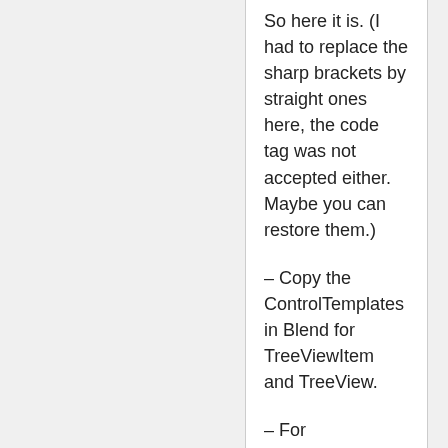So here it is. (I had to replace the sharp brackets by straight ones here, the code tag was not accepted either. Maybe you can restore them.)
– Copy the ControlTemplates in Blend for TreeViewItem and TreeView.
– For TreeViewItem, just change the ColumnDefinitions and ItemsPresenter along your line of thought: [Grid.ColumnDefinitions] [ColumnDefinition Width="15"/] [!–[ColumnDefinition Width="Auto"/]–]